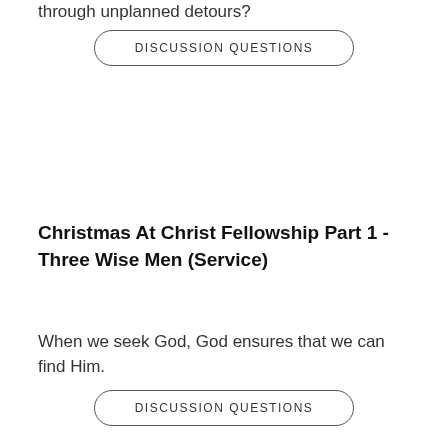through unplanned detours?
DISCUSSION QUESTIONS
Christmas At Christ Fellowship Part 1 -  Three Wise Men (Service)
When we seek God, God ensures that we can find Him.
DISCUSSION QUESTIONS